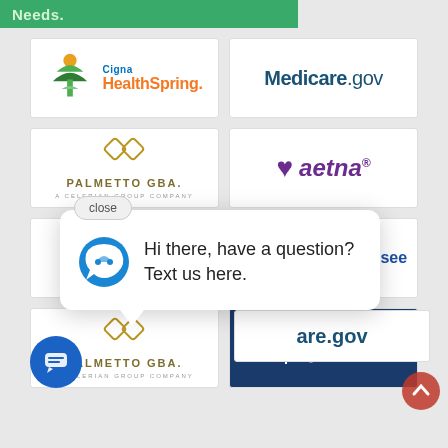Needs.
[Figure (logo): Cigna HealthSpring logo with green tree icon]
[Figure (logo): Medicare.gov logo]
[Figure (logo): Palmetto GBA - A Celerian Group Company logo]
[Figure (logo): Aetna logo with purple heart]
[Figure (logo): Amerigroup logo (partially visible)]
[Figure (logo): BlueCross BlueShield of Tennessee logo (partially visible)]
Hi there, have a question? Text us here.
[Figure (logo): Palmetto GBA - A Celerian Group Company logo (repeated)]
[Figure (logo): U.S. Department of Veterans Affairs (VA) logo]